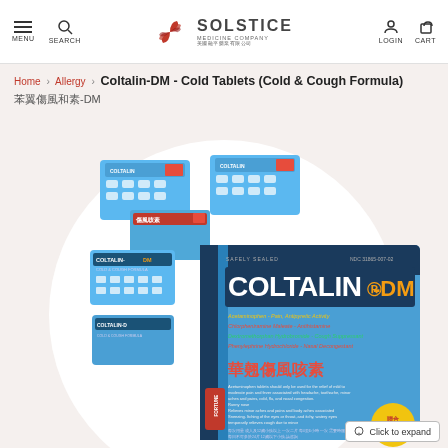MENU | SEARCH | SOLSTICE MEDICINE COMPANY 美國融平藥業有限公司 | LOGIN | CART
Home > Allergy > Coltalin-DM - Cold Tablets (Cold & Cough Formula) 華翹傷風咳素-DM
[Figure (photo): Product photo of Coltalin-DM Cold & Cough Formula tablets - showing blue blister packs and a blue product box with COLTALIN-DM branding, Chinese text 華翹傷風咳素, and ingredient listings including Acetaminophen, Chlorpheniramine Maleate, Dextromethorphan Hydrobromide - Cough Suppressant, Phenylephrine Hydrochloride - Nasal Decongestant. 36 Tablets/片. SAVINGS PACK. NDC 31865-007-02. SAFELY SEALED. FORTUNE branding.]
Click to expand